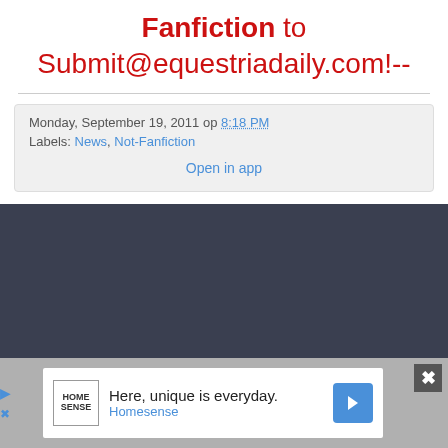Fanfiction to Submit@equestriadaily.com!--
Monday, September 19, 2011 op 8:18 PM
Labels: News, Not-Fanfiction
Open in app
[Figure (other): Dark navy/slate background area]
[Figure (other): Advertisement banner: Home Sense logo, play button, close button. Text: Here, unique is everyday. Homesense]